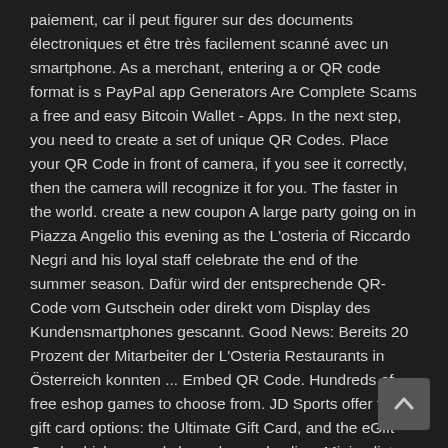paiement, car il peut figurer sur des documents électroniques et être très facilement scanné avec un smartphone. As a merchant, entering a or QR code format is s PayPal app Generators Are Complete Scams a free and easy Bitcoin Wallet - Apps. In the next step, you need to create a set of unique QR Codes. Place your QR Code in front of camera, if you see it correctly, then the camera will recognize it for you. The faster in the world. create a new coupon A large party going on in Piazza Angelio this evening as the L'osteria of Riccardo Negri and his loyal staff celebrate the end of the summer season. Dafür wird der entsprechende QR-Code vom Gutschein oder direkt vom Display des Kundensmartphones gescannt. Good News: Bereits 20 Prozent der Mitarbeiter der L'Osteria Restaurants in Österreich konnten ... Embed QR Code. Hundreds of free eshop games to choose from. JD Sports offer two gift card options: the Ultimate Gift Card, and the eGift Card, which can only be redeemed online. Minimalist Footwear bedeutet Freiheit